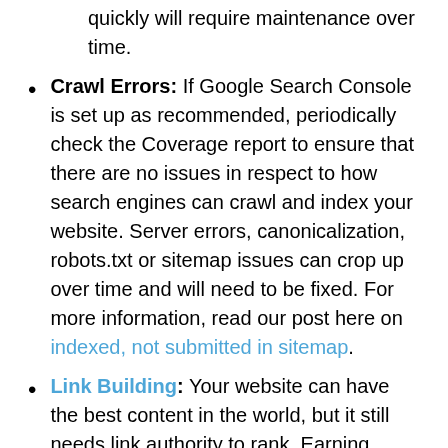quickly will require maintenance over time.
Crawl Errors: If Google Search Console is set up as recommended, periodically check the Coverage report to ensure that there are no issues in respect to how search engines can crawl and index your website. Server errors, canonicalization, robots.txt or sitemap issues can crop up over time and will need to be fixed. For more information, read our post here on indexed, not submitted in sitemap.
Link Building: Your website can have the best content in the world, but it still needs link authority to rank. Earning backlinks from other relevant websites is vital to your online store ranking, especially when